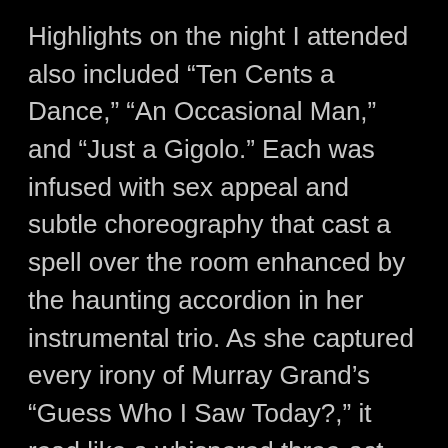Highlights on the night I attended also included “Ten Cents a Dance,” “An Occasional Man,” and “Just a Gigolo.” Each was infused with sex appeal and subtle choreography that cast a spell over the room enhanced by the haunting accordion in her instrumental trio. As she captured every irony of Murray Grand’s “Guess Who I Saw Today?,” it read like a whispered three-act play. Once in fierce control of her emotion and body language, Walsh has managed to strip away Avis’ patrician veneer. Closing with her mainstay, “Parlez-moi d’amour,” Yanna Avis proved she could climb more than just the social ladder.